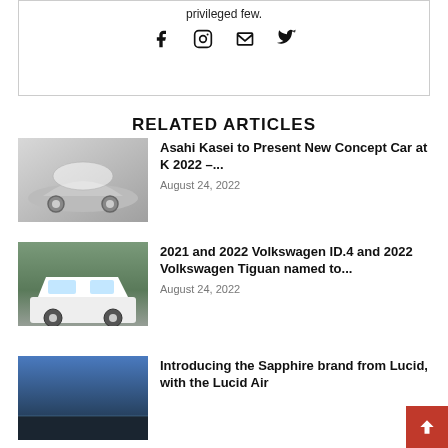privileged few.
[Figure (other): Social media icons: Facebook, Instagram, Email, Twitter]
RELATED ARTICLES
[Figure (photo): Asahi Kasei concept car – silver futuristic vehicle with transparent bubble roof]
Asahi Kasei to Present New Concept Car at K 2022 –...
August 24, 2022
[Figure (photo): 2021/2022 Volkswagen ID.4 and 2022 Volkswagen Tiguan – white SUV on road]
2021 and 2022 Volkswagen ID.4 and 2022 Volkswagen Tiguan named to...
August 24, 2022
[Figure (photo): Lucid Air Sapphire – dark blue sky background]
Introducing the Sapphire brand from Lucid, with the Lucid Air